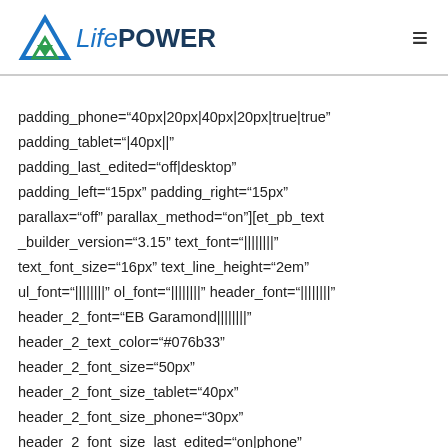LifePower
padding_phone="40px|20px|40px|20px|true|true"
padding_tablet="|40px||"
padding_last_edited="off|desktop"
padding_left="15px" padding_right="15px"
parallax="off" parallax_method="on"][et_pb_text
_builder_version="3.15" text_font="||||||||"
text_font_size="16px" text_line_height="2em"
ul_font="||||||||" ol_font="||||||||" header_font="||||||||"
header_2_font="EB Garamond||||||||"
header_2_text_color="#076b33"
header_2_font_size="50px"
header_2_font_size_tablet="40px"
header_2_font_size_phone="30px"
header_2_font_size_last_edited="on|phone"
header_2_line_height="1.7em"